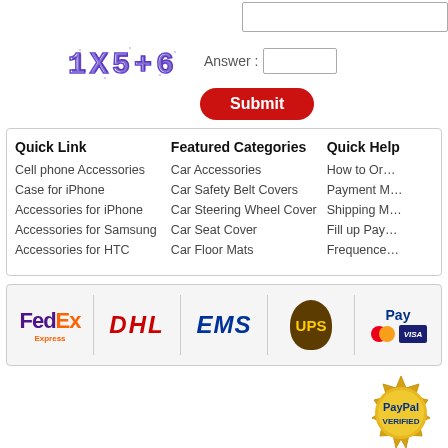[Figure (screenshot): CAPTCHA image showing text '1X5+6' in blue distorted pixel font]
Answer :
[Figure (screenshot): Submit button, red rounded rectangle with white bold text 'Submit']
Quick Link
Cell phone Accessories
Case for iPhone
Accessories for iPhone
Accessories for Samsung
Accessories for HTC
Featured Categories
Car Accessories
Car Safety Belt Covers
Car Steering Wheel Cover
Car Seat Cover
Car Floor Mats
Quick Help
How to Or…
Payment M…
Shipping M…
Fill up Pay…
Frequence…
[Figure (logo): Shipping carrier logos: FedEx Express, DHL, EMS, UPS, PayPal/Visa/MasterCard]
[Figure (logo): PayPal Verified gold seal badge]
Safe and secure purcha…
Copyright @ 2006 id…